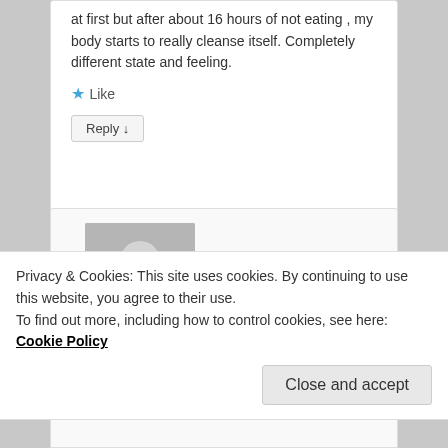at first but after about 16 hours of not eating , my body starts to really cleanse itself. Completely different state and feeling.
★ Like
Reply ↓
[Figure (illustration): User avatar placeholder with person silhouette on gray background]
Dorcia Talks on May 25, 2016 at 4:04 PM said:
I'm on day three of my dry fast for the first time. I
Privacy & Cookies: This site uses cookies. By continuing to use this website, you agree to their use.
To find out more, including how to control cookies, see here: Cookie Policy
Close and accept